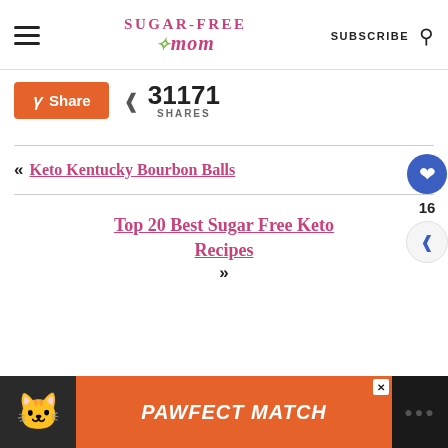Sugar-Free Mom — SUBSCRIBE [search icon]
Share   31171 SHARES
« Keto Kentucky Bourbon Balls
Top 20 Best Sugar Free Keto Recipes »
[Figure (screenshot): PAWFECT MATCH advertisement banner with cat photo and orange background]
PAWFECT MATCH ad banner